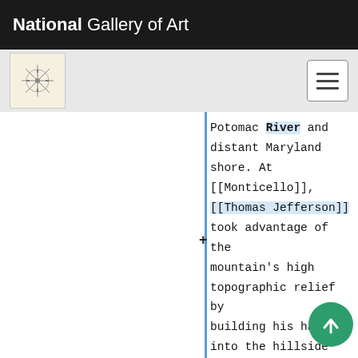National Gallery of Art
[Figure (logo): Art/art icon — decorative compass star logo on cream background]
Potomac River and distant Maryland shore. At [[Monticello]], [[Thomas Jefferson]] took advantage of the mountain's high topographic relief by building his ha-ha into the hillside along the southern side of his newly leveled [[lawn]] using a retaining [[wall]] of stone. This ha- (elsewhere called [[terrace]] [[wall]]),